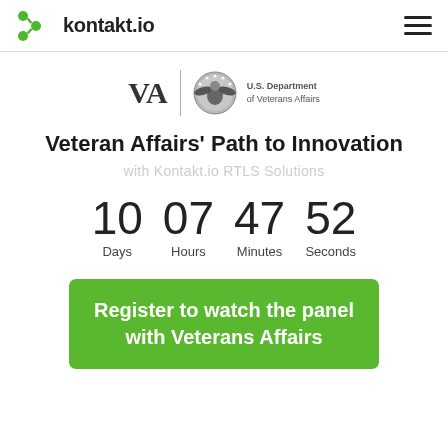kontakt.io
[Figure (logo): VA U.S. Department of Veterans Affairs logo with eagle seal]
Veteran Affairs' Path to Innovation
with Kontakt.io RTLS Solutions
10 Days  07 Hours  47 Minutes  52 Seconds
Register to watch the panel with Veterans Affairs